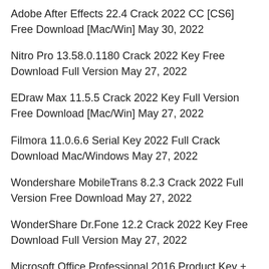Adobe After Effects 22.4 Crack 2022 CC [CS6] Free Download [Mac/Win] May 30, 2022
Nitro Pro 13.58.0.1180 Crack 2022 Key Free Download Full Version May 27, 2022
EDraw Max 11.5.5 Crack 2022 Key Full Version Free Download [Mac/Win] May 27, 2022
Filmora 11.0.6.6 Serial Key 2022 Full Crack Download Mac/Windows May 27, 2022
Wondershare MobileTrans 8.2.3 Crack 2022 Full Version Free Download May 27, 2022
WonderShare Dr.Fone 12.2 Crack 2022 Key Free Download Full Version May 27, 2022
Microsoft Office Professional 2016 Product Key + Crack Free Download Activator May 27, 2022